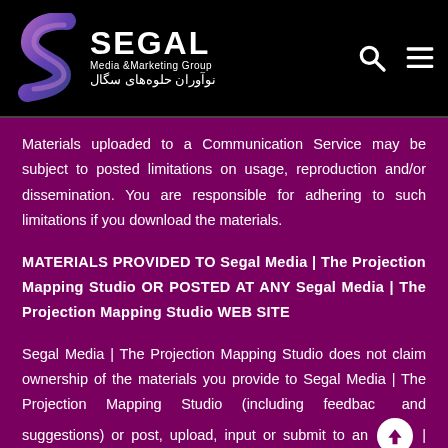[Figure (logo): Segal Media & Marketing Group logo with stylized S icon and Farsi subtitle]
Materials uploaded to a Communication Service may be subject to posted limitations on usage, reproduction and/or dissemination. You are responsible for adhering to such limitations if you download the materials.
MATERIALS PROVIDED TO Segal Media | The Projection Mapping Studio OR POSTED AT ANY Segal Media | The Projection Mapping Studio WEB SITE
Segal Media | The Projection Mapping Studio does not claim ownership of the materials you provide to Segal Media | The Projection Mapping Studio (including feedback and suggestions) or post, upload, input or submit to an | Media | The Projection Mapping Studio Web Site or its associated services (collectively "Submissions"). However, by